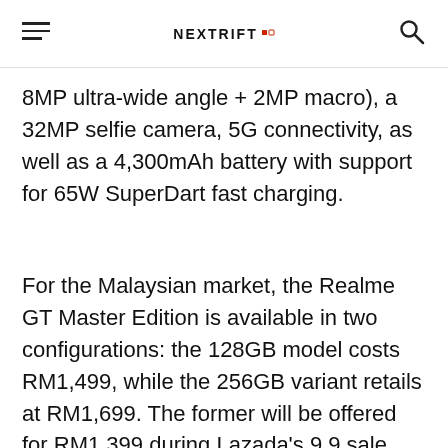NEXTRIFT
8MP ultra-wide angle + 2MP macro), a 32MP selfie camera, 5G connectivity, as well as a 4,300mAh battery with support for 65W SuperDart fast charging.
For the Malaysian market, the Realme GT Master Edition is available in two configurations: the 128GB model costs RM1,499, while the 256GB variant retails at RM1,699. The former will be offered for RM1,399 during Lazada's 9.9 sale, while